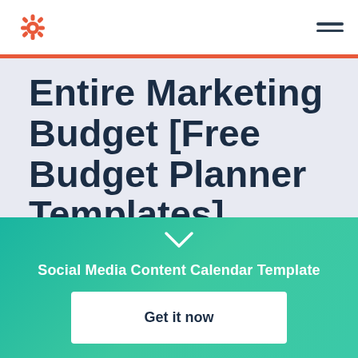[Figure (logo): HubSpot sprocket logo in orange/coral color, top left of navigation header]
[Figure (other): Hamburger menu icon (two horizontal lines) in dark navy, top right of navigation header]
Entire Marketing Budget [Free Budget Planner Templates]
MARKETING | 16 MIN READ
[Figure (other): Chevron/down arrow icon in white on teal background]
Social Media Content Calendar Template
Get it now